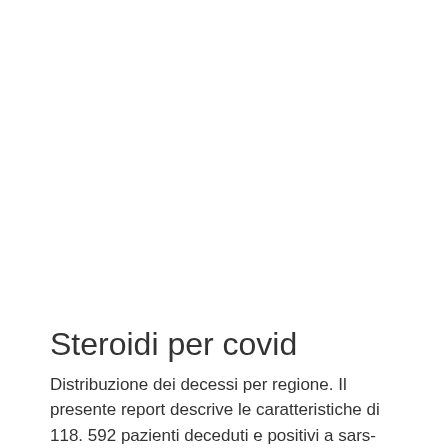Steroidi per covid
Distribuzione dei decessi per regione. Il presente report descrive le caratteristiche di 118. 592 pazienti deceduti e positivi a sars-